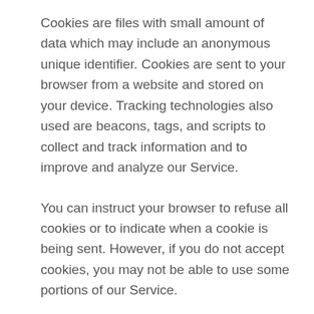Cookies are files with small amount of data which may include an anonymous unique identifier. Cookies are sent to your browser from a website and stored on your device. Tracking technologies also used are beacons, tags, and scripts to collect and track information and to improve and analyze our Service.
You can instruct your browser to refuse all cookies or to indicate when a cookie is being sent. However, if you do not accept cookies, you may not be able to use some portions of our Service.
Examples of Cookies we use:
Session Cookies. We use Session